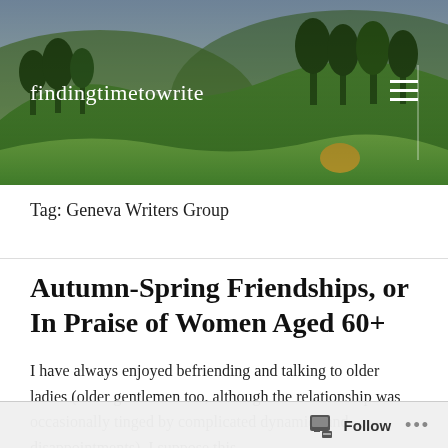[Figure (photo): Green rolling hills with trees landscape background, used as website header image]
findingtimetowrite
Tag: Geneva Writers Group
Autumn-Spring Friendships, or In Praise of Women Aged 60+
I have always enjoyed befriending and talking to older ladies (older gentlemen too, although the relationship was occasionally tinged by complicated dynamics and disappointments). I suppose this